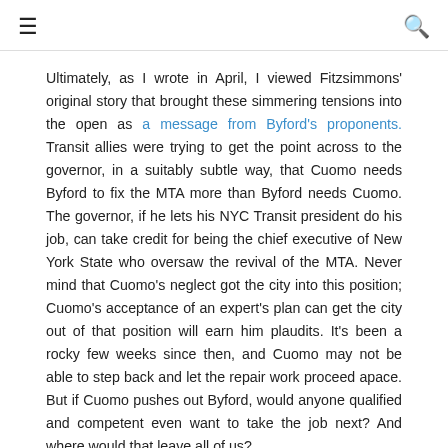☰  🔍
Ultimately, as I wrote in April, I viewed Fitzsimmons' original story that brought these simmering tensions into the open as a message from Byford's proponents. Transit allies were trying to get the point across to the governor, in a suitably subtle way, that Cuomo needs Byford to fix the MTA more than Byford needs Cuomo. The governor, if he lets his NYC Transit president do his job, can take credit for being the chief executive of New York State who oversaw the revival of the MTA. Never mind that Cuomo's neglect got the city into this position; Cuomo's acceptance of an expert's plan can get the city out of that position will earn him plaudits. It's been a rocky few weeks since then, and Cuomo may not be able to step back and let the repair work proceed apace. But if Cuomo pushes out Byford, would anyone qualified and competent even want to take the job next? And where would that leave all of us?